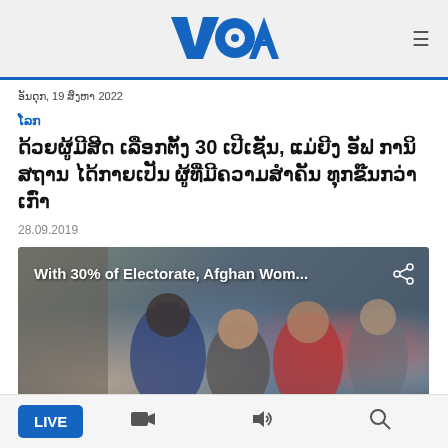VOA
ອັນດຸກ, 19 ສິງຫາ 2022
ໂລກ
ດ້ວຍຜູ້ມີສີດ ເລືອກຕັ້ງ 30 ເປີເຊັນ, ແມ່ຍີງ ອັຟ ການິສຖານ ໄດ້ກາຍເປັນ ຜູ້ທີ່ມີຄວາມສຳຄັນ ທຸກຂ໊ນກວ່າເກົ່າ
28.09.2019
[Figure (screenshot): Video thumbnail showing Afghan women with text overlay: 'With 30% of Electorate, Afghan Wom...' and a share icon]
LIVE | video camera icon | volume icon | search icon